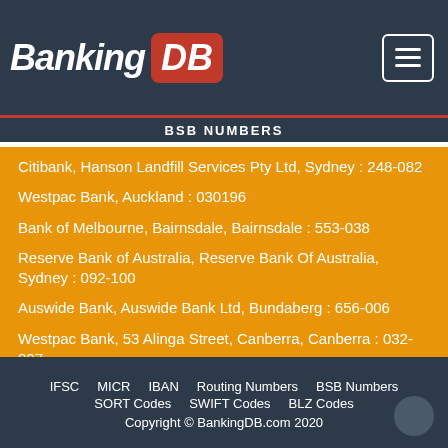[Figure (logo): BankingDB logo with 'Banking' in white italic bold text and 'DB' in white bold italic text on a red rounded rectangle background, on a dark navy header bar. A hamburger menu button (three white lines in a white border box) is in the top right.]
BSB NUMBERS
Citibank, Hanson Landfill Services Pty Ltd, Sydney : 248-082
Westpac Bank, Auckland : 030196
Bank of Melbourne, Bairnsdale, Bairnsdale : 553-038
Reserve Bank of Australia, Reserve Bank Of Australia, Sydney : 092-100
Auswide Bank, Auswide Bank Ltd, Bundaberg : 656-006
Westpac Bank, 53 Alinga Street, Canberra, Canberra : 032-827
IFSC   MICR   IBAN   Routing Numbers   BSB Numbers
SORT Codes   SWIFT Codes   BLZ Codes
Copyright © BankingDB.com 2020